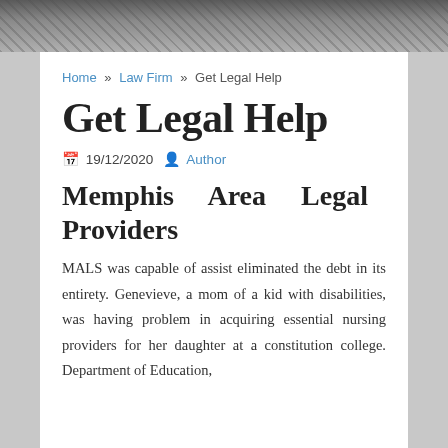[Figure (photo): Header banner image with classical building/statue motif in grayscale]
Home » Law Firm » Get Legal Help
Get Legal Help
19/12/2020  Author
Memphis Area Legal Providers
MALS was capable of assist eliminated the debt in its entirety. Genevieve, a mom of a kid with disabilities, was having problem in acquiring essential nursing providers for her daughter at a constitution college. Department of Education,